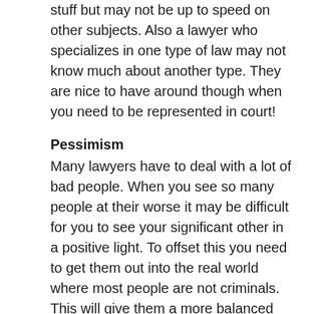stuff but may not be up to speed on other subjects. Also a lawyer who specializes in one type of law may not know much about another type. They are nice to have around though when you need to be represented in court!
Pessimism
Many lawyers have to deal with a lot of bad people. When you see so many people at their worse it may be difficult for you to see your significant other in a positive light. To offset this you need to get them out into the real world where most people are not criminals. This will give them a more balanced perspective on life.
Anal-retentive
This trait is important to have for a lawyer who is doing their work. When you hire a lawyer you want them to have attention for detail so they don't miss something that might impact you negatively. I have found though that since lawyers have to be so anal-retentive in their job